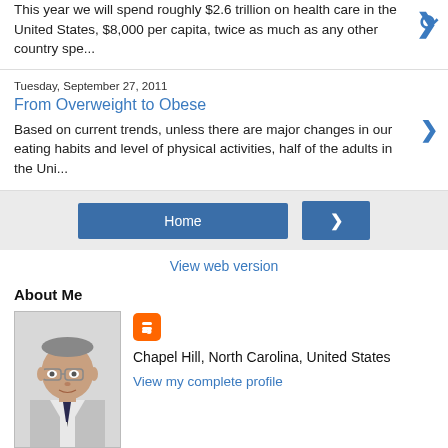This year we will spend roughly $2.6 trillion on health care in the United States, $8,000 per capita, twice as much as any other country spe...
Tuesday, September 27, 2011
From Overweight to Obese
Based on current trends, unless there are major changes in our eating habits and level of physical activities, half of the adults in the Uni...
Home
View web version
About Me
[Figure (photo): Profile photo of a man with glasses wearing a suit]
Chapel Hill, North Carolina, United States
View my complete profile
Powered by Blogger.